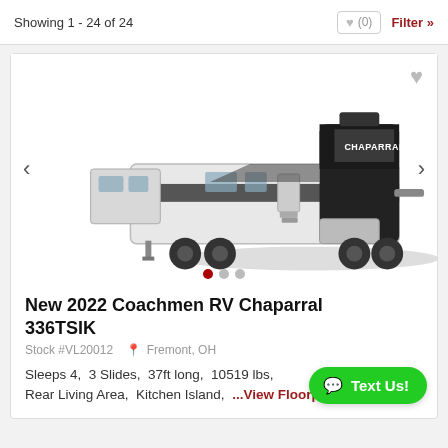Showing 1 - 24 of 24
[Figure (photo): Photo of a 2022 Coachmen RV Chaparral 336TSIK fifth wheel trailer shown from a three-quarter front view, white and black exterior with 'CHAPARRAL' branding, multiple slide-outs, stabilizer jacks deployed.]
New 2022 Coachmen RV Chaparral 336TSIK
Stock #VL20012  Fremont, OH
Sleeps 4,  3 Slides,  37ft long,  10519 lbs,  Rear Living Area,  Kitchen Island,  ...View Floorplan